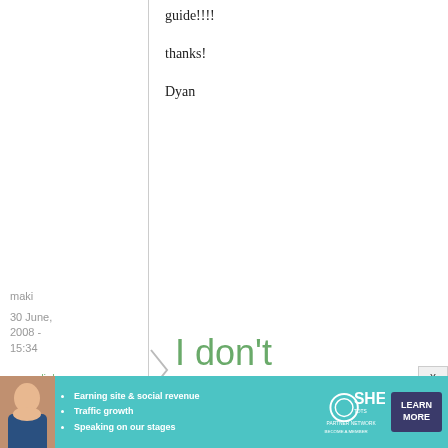guide!!!!
thanks!
Dyan
maki
30 June, 2008 - 15:34
permalink
I don't
[Figure (screenshot): Black image block (partially visible/obscured content)]
people would love
[Figure (infographic): SHE Partner Network advertisement banner with woman photo, bullet points: Earning site & social revenue, Traffic growth, Speaking on our stages. LEARN MORE button.]